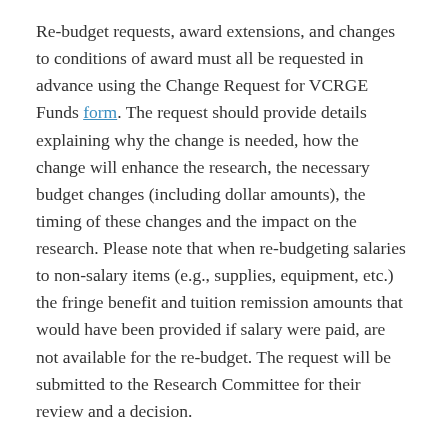Re-budget requests, award extensions, and changes to conditions of award must all be requested in advance using the Change Request for VCRGE Funds form. The request should provide details explaining why the change is needed, how the change will enhance the research, the necessary budget changes (including dollar amounts), the timing of these changes and the impact on the research. Please note that when re-budgeting salaries to non-salary items (e.g., supplies, equipment, etc.) the fringe benefit and tuition remission amounts that would have been provided if salary were paid, are not available for the re-budget. The request will be submitted to the Research Committee for their review and a decision.
CHANGES IN EMPLOYMENT